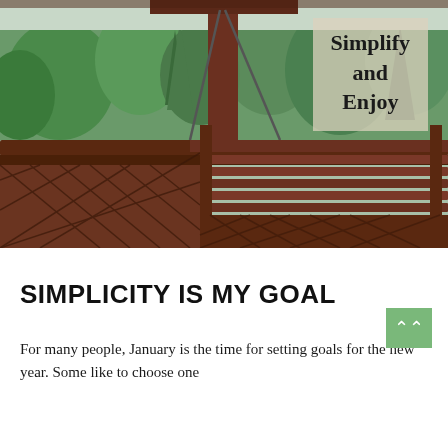[Figure (photo): Outdoor wooden deck/porch with dark reddish-brown railings and a lattice fence in the foreground, a swing bench visible, surrounded by lush green trees in the background. Overlaid text box reads 'Simplify and Enjoy'.]
SIMPLICITY IS MY GOAL
For many people, January is the time for setting goals for the new year. Some like to choose one